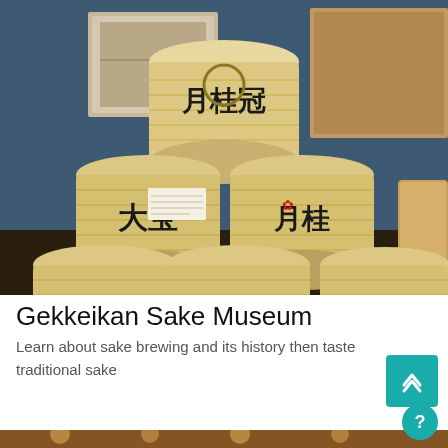[Figure (photo): Photo of stacked traditional Japanese sake barrels (kazaridaru) with Japanese kanji characters including 月桂冠 (Gekkeikan), 大宝, 朝鷹, and others, displayed against a dark blue wall with framed artworks in a museum setting.]
Gekkeikan Sake Museum
Learn about sake brewing and its history then taste traditional sake
[Figure (photo): Partial photo showing interior of a warmly lit restaurant or museum space with pendant lights and wooden ceiling.]